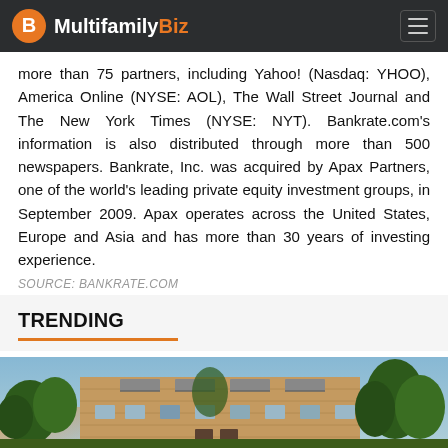MultifamilyBiz
more than 75 partners, including Yahoo! (Nasdaq: YHOO), America Online (NYSE: AOL), The Wall Street Journal and The New York Times (NYSE: NYT). Bankrate.com's information is also distributed through more than 500 newspapers. Bankrate, Inc. was acquired by Apax Partners, one of the world's leading private equity investment groups, in September 2009. Apax operates across the United States, Europe and Asia and has more than 30 years of investing experience.
SOURCE: BANKRATE.COM
TRENDING
[Figure (photo): Exterior photo of a multi-story brick apartment building with balconies, surrounded by trees, at dusk with a blue sky.]